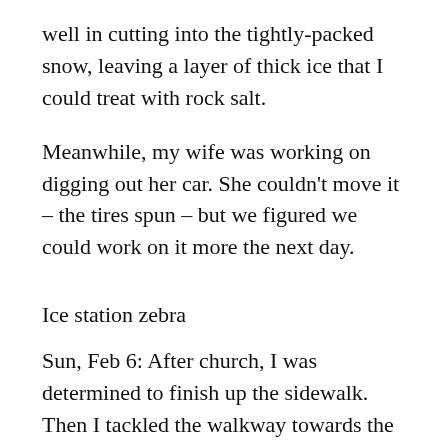well in cutting into the tightly-packed snow, leaving a layer of thick ice that I could treat with rock salt.
Meanwhile, my wife was working on digging out her car. She couldn't move it – the tires spun – but we figured we could work on it more the next day.
Ice station zebra
Sun, Feb 6: After church, I was determined to finish up the sidewalk. Then I tackled the walkway towards the house.